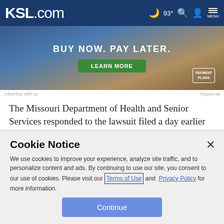KSL.com  93°  MENU
[Figure (photo): Advertisement banner: BUY NOW. PAY LATER. with a green LEARN MORE button and a payment plans badge]
Advertise with us    Report ad
The Missouri Department of Health and Senior Services responded to the lawsuit filed a day earlier by Planned Parenthood that seeks to keep open the clinic in St. Louis. A judge on Thursday will hold a hearing on the request for a
Cookie Notice
We use cookies to improve your experience, analyze site traffic, and to personalize content and ads. By continuing to use our site, you consent to our use of cookies. Please visit our Terms of Use and Privacy Policy for more information.
Continue